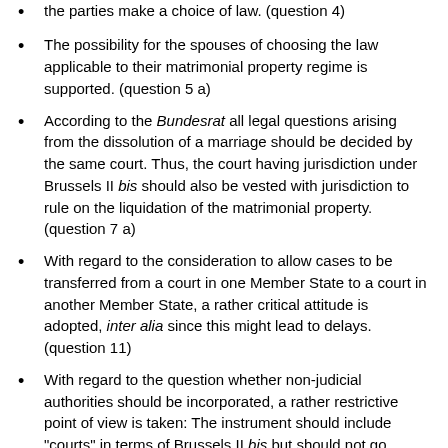the parties make a choice of law. (question 4)
The possibility for the spouses of choosing the law applicable to their matrimonial property regime is supported. (question 5 a)
According to the Bundesrat all legal questions arising from the dissolution of a marriage should be decided by the same court. Thus, the court having jurisdiction under Brussels II bis should also be vested with jurisdiction to rule on the liquidation of the matrimonial property. (question 7 a)
With regard to the consideration to allow cases to be transferred from a court in one Member State to a court in another Member State, a rather critical attitude is adopted, inter alia since this might lead to delays. (question 11)
With regard to the question whether non-judicial authorities should be incorporated, a rather restrictive point of view is taken: The instrument should include "courts" in terms of Brussels II bis but should not go beyond this. (question 12)